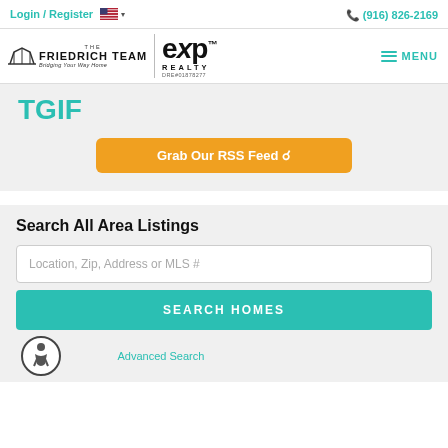Login / Register  (916) 826-2169
[Figure (logo): The Friedrich Team eXp Realty logo with bridge graphic and DRE#01878277]
TGIF
Grab Our RSS Feed
Search All Area Listings
Location, Zip, Address or MLS #
SEARCH HOMES
Advanced Search